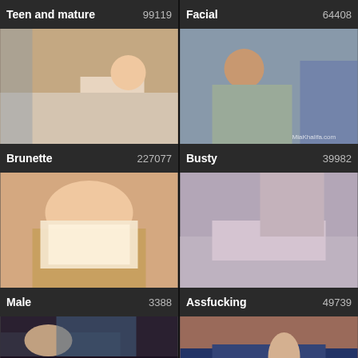Teen and mature  99119
[Figure (photo): Thumbnail image for Teen and mature category]
Facial  64408
[Figure (photo): Thumbnail image for Facial category]
Brunette  227077
[Figure (photo): Thumbnail image for Brunette category]
Busty  39982
[Figure (photo): Thumbnail image for Busty category]
Male  3388
[Figure (photo): Partial thumbnail for Male category]
Assfucking  49739
[Figure (photo): Partial thumbnail for Assfucking category]